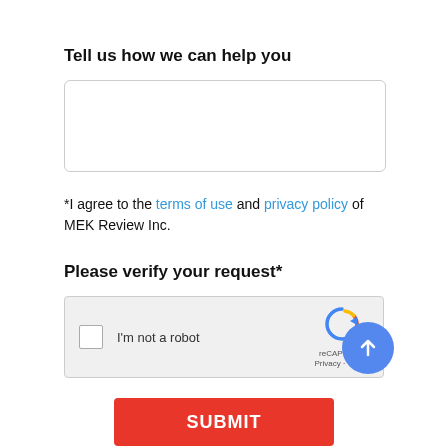Tell us how we can help you
[Figure (other): Empty text area input field with rounded border]
*I agree to the terms of use and privacy policy of MEK Review Inc.
Please verify your request*
[Figure (other): reCAPTCHA widget with checkbox 'I'm not a robot']
SUBMIT
[Figure (other): Blue circular scroll-to-top button with upward arrow]